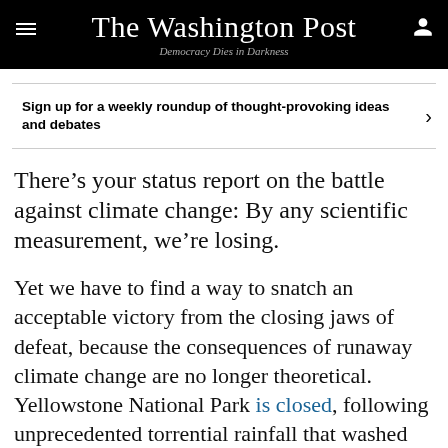The Washington Post
Democracy Dies in Darkness
Sign up for a weekly roundup of thought-provoking ideas and debates
There’s your status report on the battle against climate change: By any scientific measurement, we’re losing.
Yet we have to find a way to snatch an acceptable victory from the closing jaws of defeat, because the consequences of runaway climate change are no longer theoretical. Yellowstone National Park is closed, following unprecedented torrential rainfall that washed out roads and perhaps permanently altered the landscape. Western states are suffering through a mega-